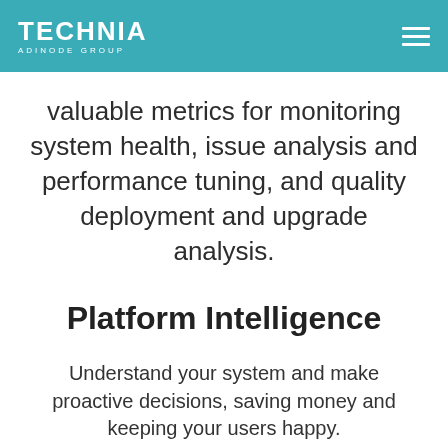TECHNIA ADINODE GROUP
valuable metrics for monitoring system health, issue analysis and performance tuning, and quality deployment and upgrade analysis.
Platform Intelligence
Understand your system and make proactive decisions, saving money and keeping your users happy.